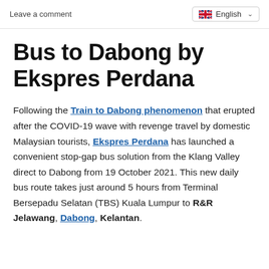Leave a comment   English
Bus to Dabong by Ekspres Perdana
Following the Train to Dabong phenomenon that erupted after the COVID-19 wave with revenge travel by domestic Malaysian tourists, Ekspres Perdana has launched a convenient stop-gap bus solution from the Klang Valley direct to Dabong from 19 October 2021. This new daily bus route takes just around 5 hours from Terminal Bersepadu Selatan (TBS) Kuala Lumpur to R&R Jelawang, Dabong, Kelantan.